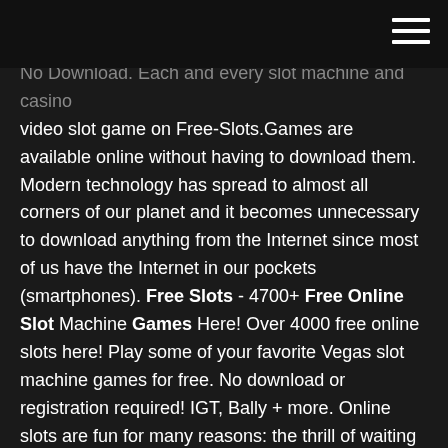No Download. Each and every slot machine and casino video slot game on Free-Slots.Games are available online without having to download them. Modern technology has spread to almost all corners of our planet and it becomes unnecessary to download anything from the Internet since most of us have the Internet in our pockets (smartphones). Free Slots - 4700+ Free Online Slot Machine Games Here! Over 4000 free online slots here! Play some of your favorite Vegas slot machine games for free. No download or registration required! IGT, Bally + more. Online slots are fun for many reasons: the thrill of waiting for the reels to stop spinning, the interaction between player and machine, and (on modern vid. Free Online Slots - Play 3888+ Slot Machines For Fun No ... That is not the same with free slots